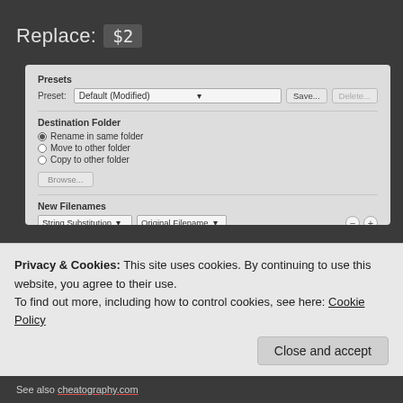Replace: $2
[Figure (screenshot): A software dialog panel showing file renaming settings. Sections: Presets (Preset: Default (Modified), Save, Delete buttons), Destination Folder (Rename in same folder selected, Move to other folder, Copy to other folder, Browse button), New Filenames (String Substitution and Original Filename dropdowns, Find: (*)e(*), Replace with: $2, checkboxes for Ignore Case, Replace All checked, Use Regular Expression checked), Options (Preserve current filename in XMP Metadata checkbox, Compatibility: Windows, Mac OS checked, Unix).]
Privacy & Cookies: This site uses cookies. By continuing to use this website, you agree to their use.
To find out more, including how to control cookies, see here: Cookie Policy
See also cheatography.com